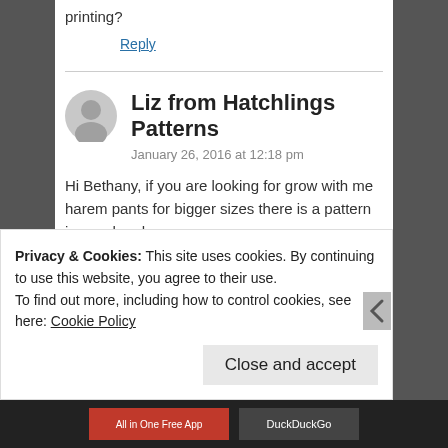printing?
Reply
Liz from Hatchlings Patterns
January 26, 2016 at 12:18 pm
Hi Bethany, if you are looking for grow with me harem pants for bigger sizes there is a pattern in my shop here: http://hatchlings-
Privacy & Cookies: This site uses cookies. By continuing to use this website, you agree to their use.
To find out more, including how to control cookies, see here: Cookie Policy
Close and accept